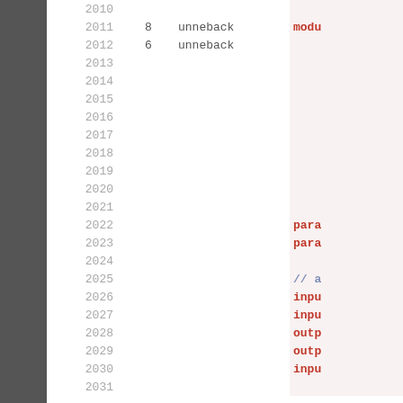| line | num | author | code |
| --- | --- | --- | --- |
| 2010 |  |  |  |
| 2011 | 8 | unneback | modu… |
| 2012 | 6 | unneback |  |
| 2013 |  |  |  |
| 2014 |  |  |  |
| 2015 |  |  |  |
| 2016 |  |  |  |
| 2017 |  |  |  |
| 2018 |  |  |  |
| 2019 |  |  |  |
| 2020 |  |  |  |
| 2021 |  |  |  |
| 2022 |  |  | para… |
| 2023 |  |  | para… |
| 2024 |  |  |  |
| 2025 |  |  | // a… |
| 2026 |  |  | inpu… |
| 2027 |  |  | inpu… |
| 2028 |  |  | outp… |
| 2029 |  |  | outp… |
| 2030 |  |  | inpu… |
| 2031 |  |  |  |